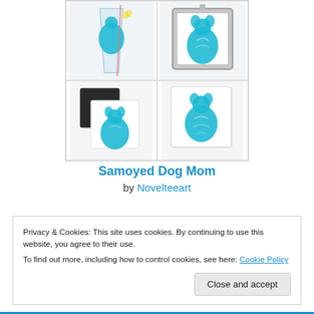[Figure (photo): Product grid showing Samoyed Dog Mom merchandise: a drinking glass with teal dog artwork, a metal ornament with teal Samoyed, a square magnet with teal Samoyed, and a square tile with teal Samoyed]
Samoyed Dog Mom
by Novelteeart
Privacy & Cookies: This site uses cookies. By continuing to use this website, you agree to their use.
To find out more, including how to control cookies, see here: Cookie Policy
Close and accept